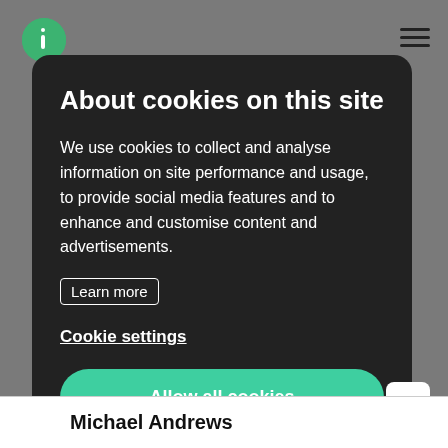About cookies on this site
We use cookies to collect and analyse information on site performance and usage, to provide social media features and to enhance and customise content and advertisements.
Learn more
Cookie settings
Allow all cookies
Michael Andrews